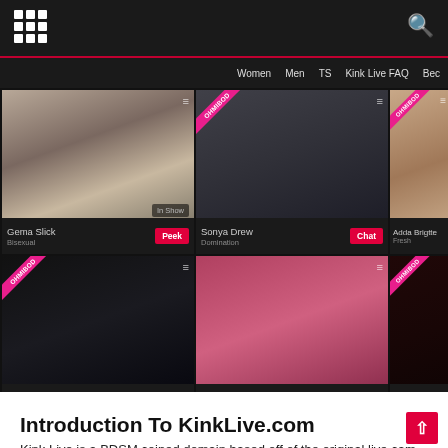[Figure (screenshot): Screenshot of KinkLive.com website showing a dark-themed live cam site. Top navigation bar with grid and search icons. Inner site navigation with Women, Men, TS, Kink Live FAQ, and other menu items. A grid of 6 cam performer thumbnails (Gema Slick with Peek button, Sonya Drew with Chat button, Adda Brigtte partially visible, and 3 more below). Some cells have OHMIBOD ribbon badges and list/grid icons. Bottom-right performer thumbnails show blondes.]
Introduction To KinkLive.com
Kink Live is a BDSM coined domain based off of the original live cam site Flirt4Free. Basically Kink Live is a re-branded